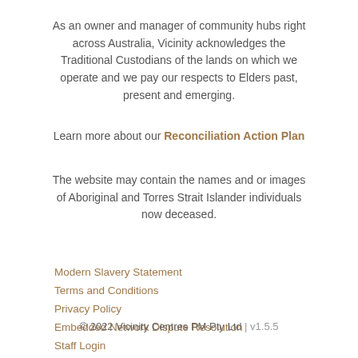As an owner and manager of community hubs right across Australia, Vicinity acknowledges the Traditional Custodians of the lands on which we operate and we pay our respects to Elders past, present and emerging.
Learn more about our Reconciliation Action Plan
The website may contain the names and or images of Aboriginal and Torres Strait Islander individuals now deceased.
Modern Slavery Statement
Terms and Conditions
Privacy Policy
Embedded Network Dispute Resolution
Staff Login
© 2022 Vicinity Centres PM Pty Ltd | v1.5.5